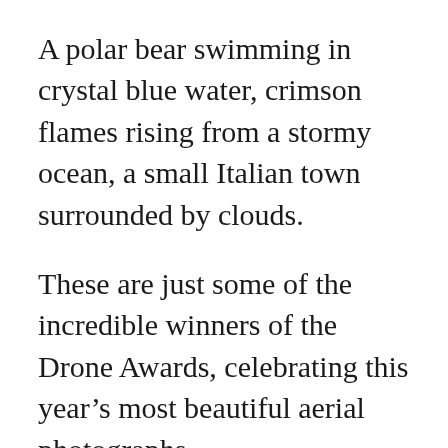A polar bear swimming in crystal blue water, crimson flames rising from a stormy ocean, a small Italian town surrounded by clouds.
These are just some of the incredible winners of the Drone Awards, celebrating this year's most beautiful aerial photographs.
More than 4,400 images were submitted to the contest, which accepted entries for six categories: